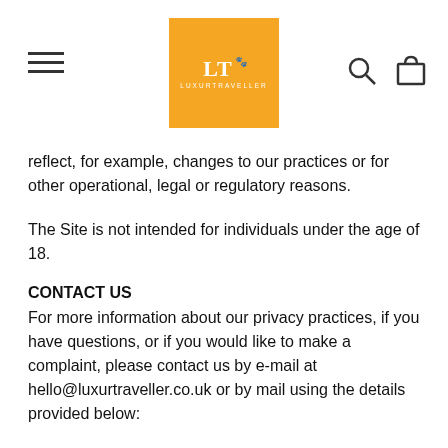LT LUXURTRAVELLER [logo with hamburger menu, search icon, bag icon]
reflect, for example, changes to our practices or for other operational, legal or regulatory reasons.
The Site is not intended for individuals under the age of 18.
CONTACT US
For more information about our privacy practices, if you have questions, or if you would like to make a complaint, please contact us by e-mail at hello@luxurtraveller.co.uk or by mail using the details provided below: